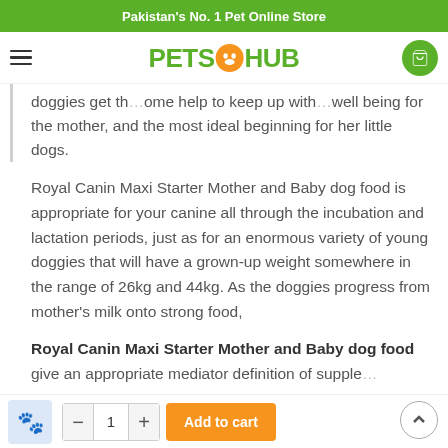Pakistan's No. 1 Pet Online Store
[Figure (logo): PetsHub logo with green text and orange paw print circle]
doggies get the...ome help to keep up with...well being for the mother, and the most ideal beginning for her little dogs.
Royal Canin Maxi Starter Mother and Baby dog food is appropriate for your canine all through the incubation and lactation periods, just as for an enormous variety of young doggies that will have a grown-up weight somewhere in the range of 26kg and 44kg. As the doggies progress from mother's milk onto strong food,
Royal Canin Maxi Starter Mother and Baby dog food give an appropriate mediator definition of supple...
Add to cart  - 1 +